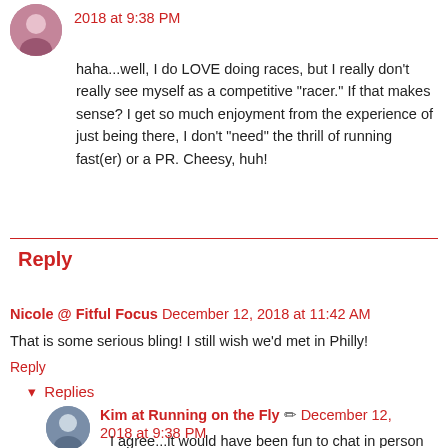2018 at 9:38 PM
haha...well, I do LOVE doing races, but I really don't really see myself as a competitive "racer." If that makes sense? I get so much enjoyment from the experience of just being there, I don't "need" the thrill of running fast(er) or a PR. Cheesy, huh!
Reply
Nicole @ Fitful Focus  December 12, 2018 at 11:42 AM
That is some serious bling! I still wish we'd met in Philly!
Reply
Replies
Kim at Running on the Fly  December 12, 2018 at 9:38 PM
I agree...it would have been fun to chat in person